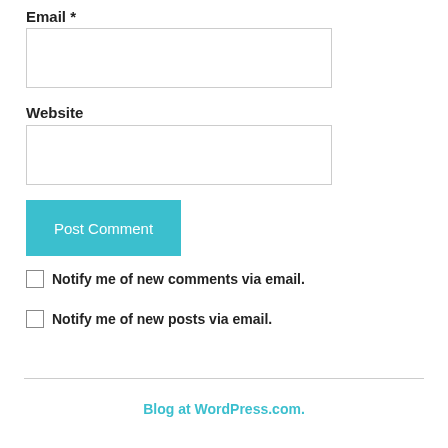Email *
[Figure (other): Empty text input box for Email field]
Website
[Figure (other): Empty text input box for Website field]
[Figure (other): Post Comment button in teal color]
Notify me of new comments via email.
Notify me of new posts via email.
Blog at WordPress.com.